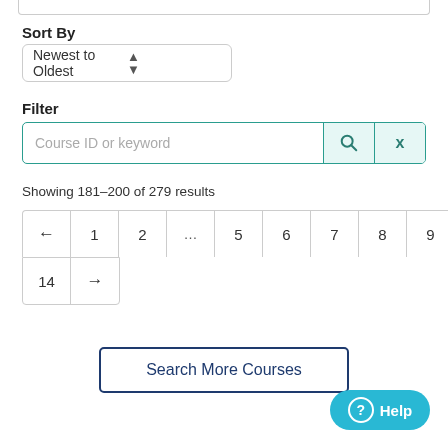Sort By
Newest to Oldest
Filter
Course ID or keyword
Showing 181–200 of 279 results
← 1 2 … 5 6 7 8 9 10 11 12 13 14 →
Search More Courses
? Help